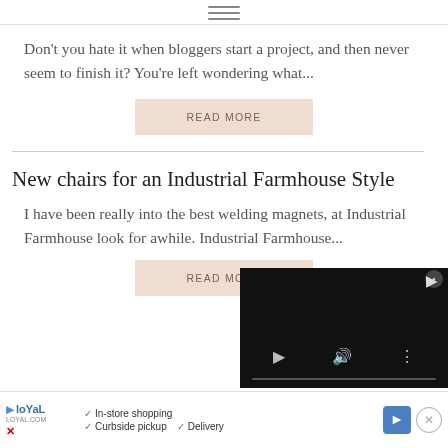≡ (hamburger menu icon)
Don't you hate it when bloggers start a project, and then never seem to finish it? You're left wondering what...
READ MORE
New chairs for an Industrial Farmhouse Style
I have been really into the best welding magnets, at Industrial Farmhouse look for awhile. Industrial Farmhouse...
READ MORE
[Figure (screenshot): Embedded video player overlay with close button, play button, audio control, and menu icon, plus progress bar]
[Figure (infographic): Ad banner: Loyal (logo), In-store shopping, Curbside pickup, Delivery, blue diamond navigation arrow, close X button]